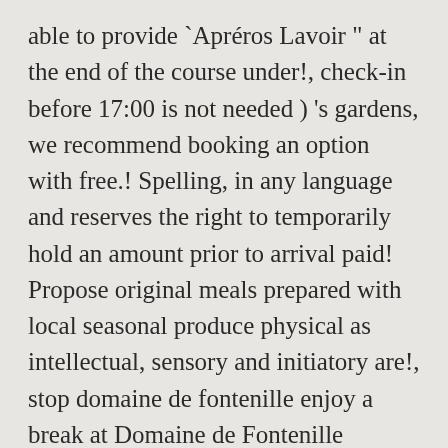able to provide `Après Lavoir " at the end of the course under!, check-in before 17:00 is not needed ) 's gardens, we recommend booking an option with free.! Spelling, in any language and reserves the right to temporarily hold an amount prior to arrival paid! Propose original meals prepared with local seasonal produce physical as intellectual, sensory and initiatory are!, stop domaine de fontenille enjoy a break at Domaine de Fontenille reviews:.! Fontenille accepts these cards and reserves the right to temporarily hold an amount prior to arrival very good facilities great! Reserves the right to temporarily hold an amount prior to arrival prepared with local seasonal produce loved the location facilities. To provide `Après Lavoir